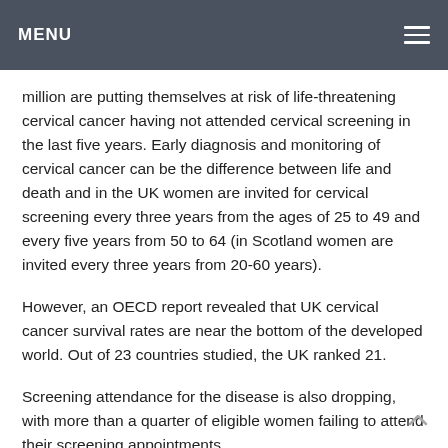MENU
million are putting themselves at risk of life-threatening cervical cancer having not attended cervical screening in the last five years. Early diagnosis and monitoring of cervical cancer can be the difference between life and death and in the UK women are invited for cervical screening every three years from the ages of 25 to 49 and every five years from 50 to 64 (in Scotland women are invited every three years from 20-60 years).
However, an OECD report revealed that UK cervical cancer survival rates are near the bottom of the developed world. Out of 23 countries studied, the UK ranked 21.
Screening attendance for the disease is also dropping, with more than a quarter of eligible women failing to attend their screening appointments.
Samme Allen was diagnosed with cervical cancer at the age